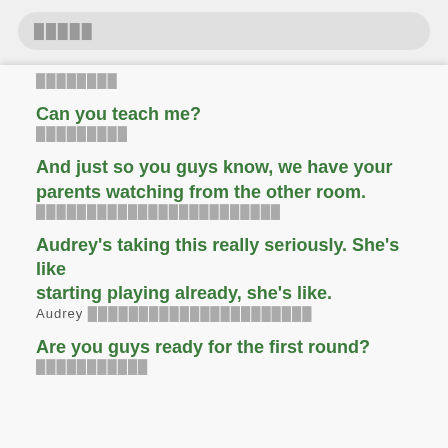█████
████████
Can you teach me?
█████████
And just so you guys know, we have your parents watching from the other room.
████████████████████████
Audrey's taking this really seriously. She's like starting playing already, she's like.
Audrey ██████████████████████
Are you guys ready for the first round?
███████████